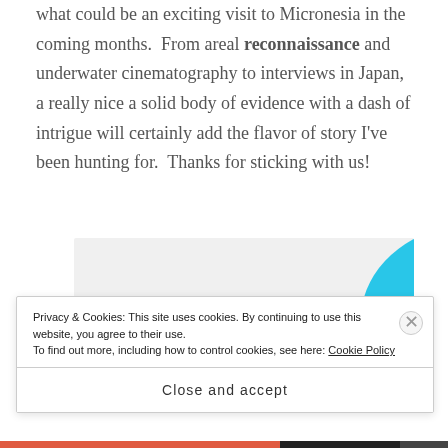what could be an exciting visit to Micronesia in the coming months.  From areal reconnaissance and underwater cinematography to interviews in Japan, a really nice a solid body of evidence with a dash of intrigue will certainly add the flavor of story I've been hunting for.  Thanks for sticking with us!
[Figure (illustration): Advertisement banner with light gray background, green triangle shape top-left, blue curved shape top-right, bold text 'How to start selling subscriptions online', and a purple button below the text.]
Privacy & Cookies: This site uses cookies. By continuing to use this website, you agree to their use.
To find out more, including how to control cookies, see here: Cookie Policy
Close and accept